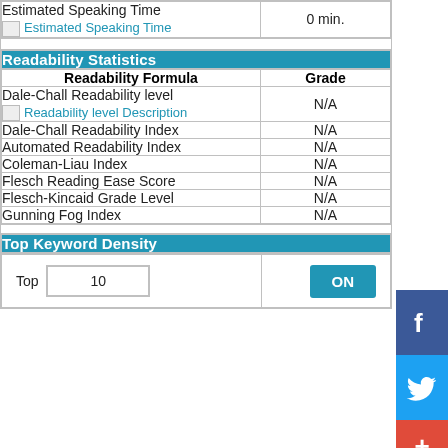|  |  |
| --- | --- |
| Estimated Speaking Time
[Estimated Speaking Time] | 0 min. |
Readability Statistics
| Readability Formula | Grade |
| --- | --- |
| Dale-Chall Readability level
[Readability level Description] | N/A |
| Dale-Chall Readability Index | N/A |
| Automated Readability Index | N/A |
| Coleman-Liau Index | N/A |
| Flesch Reading Ease Score | N/A |
| Flesch-Kincaid Grade Level | N/A |
| Gunning Fog Index | N/A |
Top Keyword Density
| Top | 10 |  | ON |
| --- | --- | --- | --- |